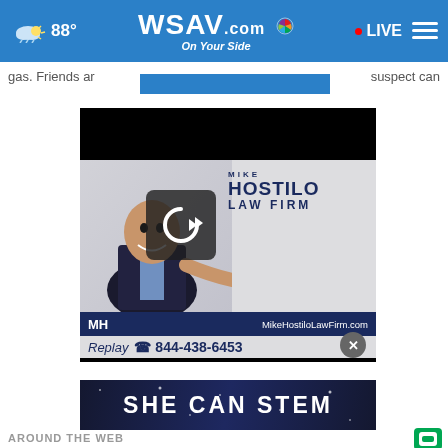WSAV.com On Your Side | 88° | LIVE
gas. Friends an ... suspect can
[Figure (screenshot): Video player showing a replay of a Mike Hostilo Law Firm advertisement. The ad features a man in a suit reaching toward the camera with the firm name, website MikeHostiloLawFirm.com, and phone number 844-438-6453. A replay button overlay is shown.]
[Figure (screenshot): SHE CAN STEM advertisement banner with dark blue/space background and bold white text.]
AROUND THE WEB